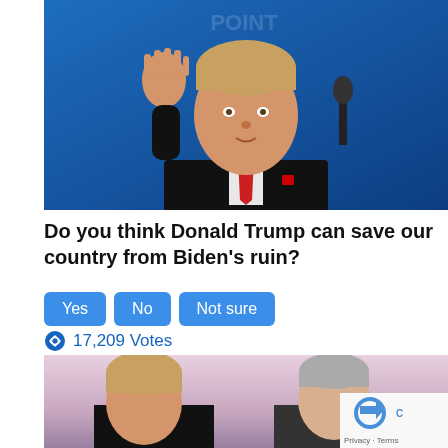[Figure (photo): Photo of Donald Trump in dark suit and red tie, waving with right hand raised, in front of a blue backdrop with microphone visible]
Do you think Donald Trump can save our country from Biden's ruin?
Yes  No  Not sure
17,209 Votes
[Figure (photo): Photo of two men, one blonde (Trump) and one grey-haired (Pence), facing each other against a pink/purple background; reCAPTCHA privacy badge overlay in bottom right]